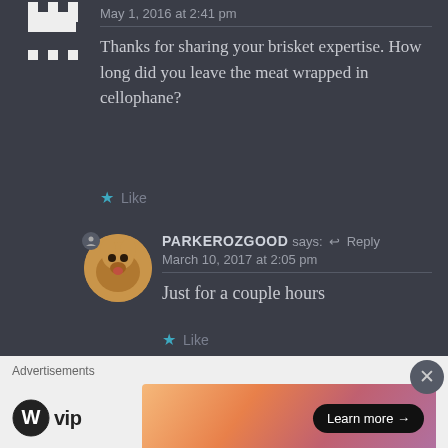May 1, 2016 at 2:41 pm
Thanks for sharing your brisket expertise. How long did you leave the meat wrapped in cellophane?
Like
PARKEROZGOOD says: Reply
March 10, 2017 at 2:05 pm
Just for a couple hours
Like
Advertisements
[Figure (logo): WordPress VIP logo with WP circle icon and 'vip' text]
[Figure (infographic): Colorful gradient advertisement banner with 'Learn more →' button]